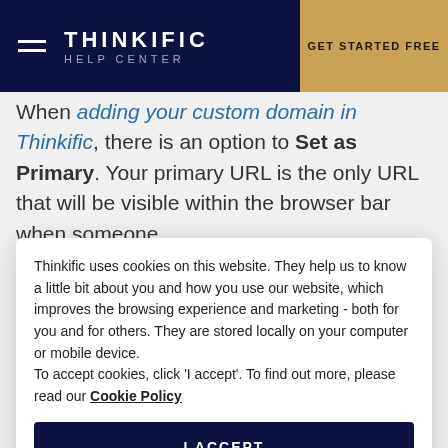THINKIFIC HELP CENTER | GET STARTED FREE
When adding your custom domain in Thinkific, there is an option to Set as Primary. Your primary URL is the only URL that will be visible within the browser bar when someone
Thinkific uses cookies on this website. They help us to know a little bit about you and how you use our website, which improves the browsing experience and marketing - both for you and for others. They are stored locally on your computer or mobile device.
To accept cookies, click 'I accept'. To find out more, please read our Cookie Policy
I ACCEPT
If you have already set your custom domain to primary in initial custom domain set up, you will see a Primary label beside it and are in